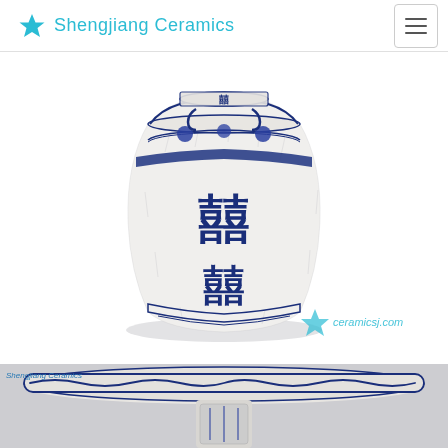Shengjiang Ceramics
[Figure (photo): Blue and white Chinese ceramic vase with double happiness (囍) characters painted in dark cobalt blue on a white crackle-patterned body, with decorative blue borders near the neck and base. The vase has a rounded body tapering to a narrow neck with small handles.]
[Figure (logo): Shengjiang Ceramics watermark logo in light blue, bottom right of main photo, reading ceramicsj.com]
[Figure (photo): Close-up top portion of a blue and white ceramic pedestal dish or stand, showing the flared rim with blue scroll/wave decorative border, on a light grey background. Small Shengjiang Ceramics watermark in top left corner.]